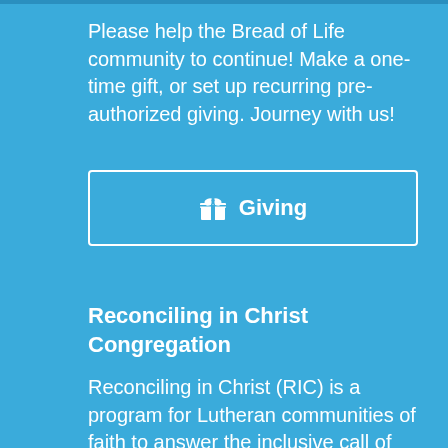Please help the Bread of Life community to continue! Make a one-time gift, or set up recurring pre-authorized giving. Journey with us!
[Figure (other): A button with a gift icon and the text 'Giving', outlined with a white border on a blue background]
Reconciling in Christ Congregation
Reconciling in Christ (RIC) is a program for Lutheran communities of faith to answer the inclusive call of the Gospel by welcoming people of all sexual orientations and gender identities.